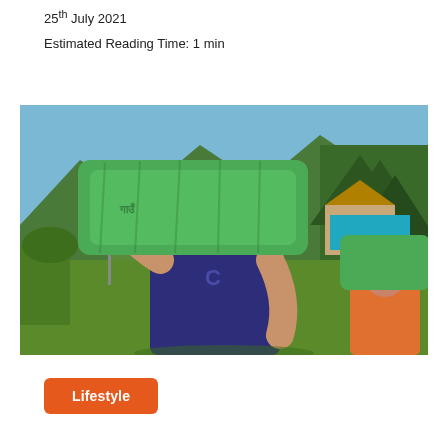25th July 2021
Estimated Reading Time: 1 min
[Figure (photo): A man in a dark purple t-shirt and white cap carries a large green sack on his shoulder in a mountain village setting. He wears a black watch. In the background, mountains, trees, and another person carrying a similar green sack are visible.]
Lifestyle